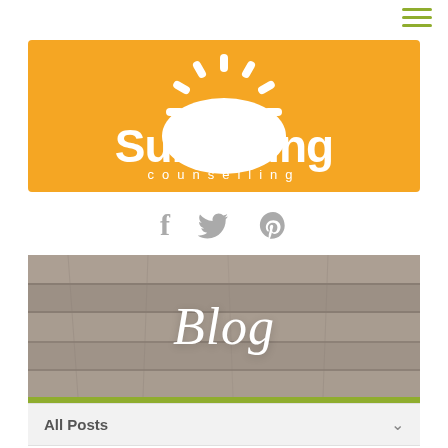[Figure (logo): Hamburger menu icon (three horizontal lines) in olive/yellow-green color, top right corner]
[Figure (logo): Sunspring Counselling logo: white sun icon above white text 'Sunspring' large, 'counselling' smaller below, on orange/golden background]
[Figure (infographic): Social media icons: Facebook (f), Twitter (bird), Pinterest (P) in grey, centered below logo]
[Figure (photo): Wooden plank texture background (grey weathered wood) with italic white text 'Blog' centered]
Blog
Q
Sign Up
All Posts